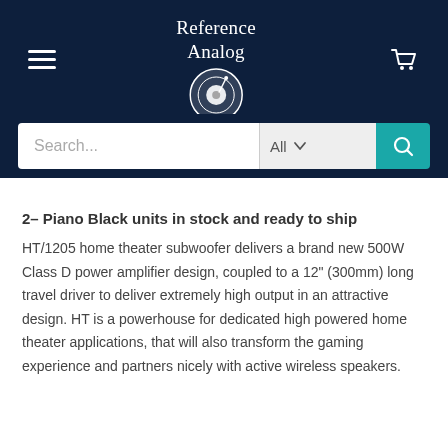Reference Analog
2– Piano Black units in stock and ready to ship
HT/1205 home theater subwoofer delivers a brand new 500W Class D power amplifier design, coupled to a 12" (300mm) long travel driver to deliver extremely high output in an attractive design. HT is a powerhouse for dedicated high powered home theater applications, that will also transform the gaming experience and partners nicely with active wireless speakers.